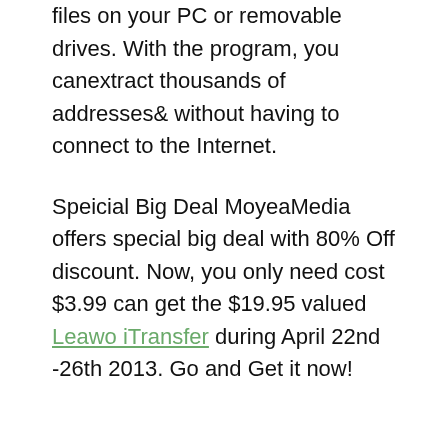files on your PC or removable drives. With the program, you canextract thousands of addresses& without having to connect to the Internet.
Speicial Big Deal MoyeaMedia offers special big deal with 80% Off discount. Now, you only need cost $3.99 can get the $19.95 valued Leawo iTransfer during April 22nd -26th 2013. Go and Get it now!